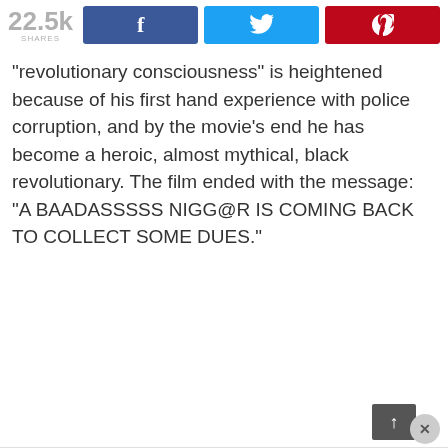[Figure (screenshot): Social share bar with 22.5k shares count, Facebook button, Twitter bird button, and Pinterest button]
“revolutionary consciousness” is heightened because of his first hand experience with police corruption, and by the movie’s end he has become a heroic, almost mythical, black revolutionary. The film ended with the message: “A BAADASSSSS NIGG@R IS COMING BACK TO COLLECT SOME DUES.”